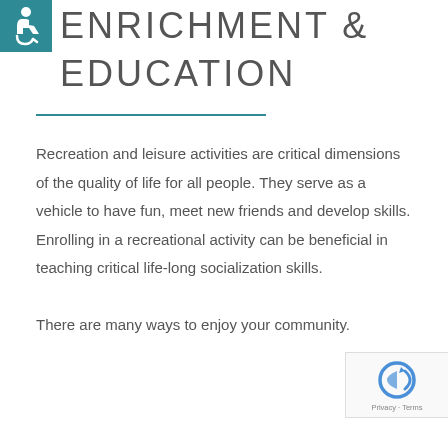ENRICHMENT & EDUCATION
Recreation and leisure activities are critical dimensions of the quality of life for all people. They serve as a vehicle to have fun, meet new friends and develop skills. Enrolling in a recreational activity can be beneficial in teaching critical life-long socialization skills.
There are many ways to enjoy your community.